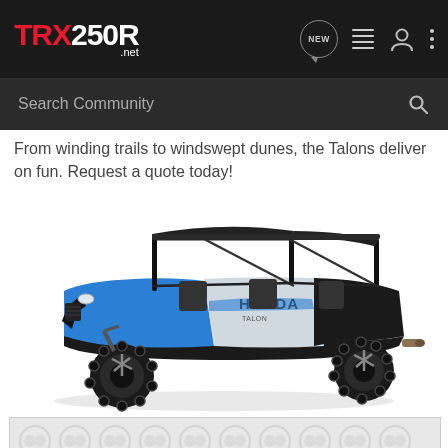TRX250R.net — navigation header with logo, NEW button, list icon, user icon, more icon
Search Community
From winding trails to windswept dunes, the Talons deliver on fun. Request a quote today!
[Figure (photo): Honda Talon side-by-side UTV in blue and white colorway with roll cage and soft top, shown at a 3/4 front angle on a white background]
[Figure (other): Advertisement banner with repeating circular logo pattern on grey background]